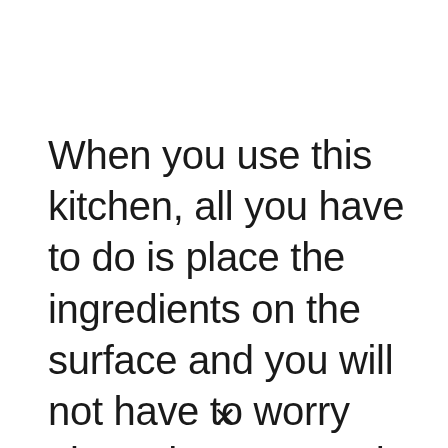When you use this kitchen, all you have to do is place the ingredients on the surface and you will not have to worry about the pans or the recipes. The appliance will analyze the
×